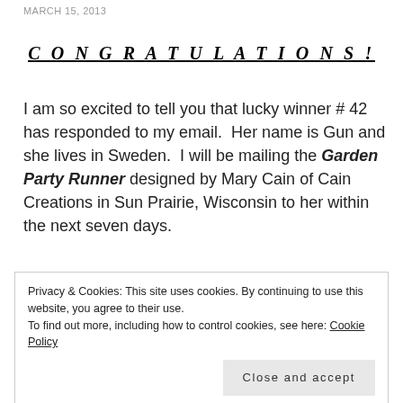MARCH 15, 2013
CONGRATULATIONS!
I am so excited to tell you that lucky winner # 42 has responded to my email.  Her name is Gun and she lives in Sweden.  I will be mailing the Garden Party Runner designed by Mary Cain of Cain Creations in Sun Prairie, Wisconsin to her within the next seven days.
Privacy & Cookies: This site uses cookies. By continuing to use this website, you agree to their use.
To find out more, including how to control cookies, see here: Cookie Policy
Close and accept